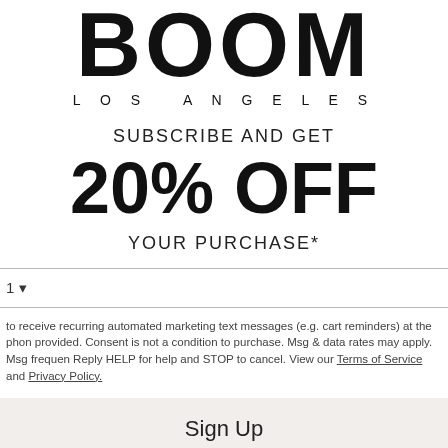[Figure (logo): BOOM LOS ANGELES brand logo with large bold BOOM text and smaller spaced LOS ANGELES subtitle]
SUBSCRIBE AND GET
20% OFF
YOUR PURCHASE*
1 ▾
to receive recurring automated marketing text messages (e.g. cart reminders) at the phone provided. Consent is not a condition to purchase. Msg & data rates may apply. Msg frequency reply HELP for help and STOP to cancel. View our Terms of Service and Privacy Policy.
Sign Up
No Thanks